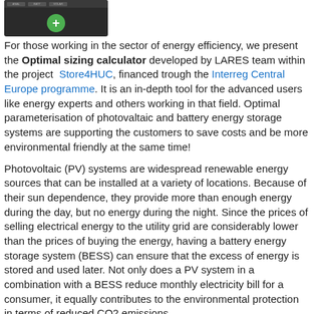[Figure (screenshot): Screenshot of a calculator app interface showing a dark toolbar with a green plus/add button]
For those working in the sector of energy efficiency, we present the Optimal sizing calculator developed by LARES team within the project Store4HUC, financed trough the Interreg Central Europe programme. It is an in-depth tool for the advanced users like energy experts and others working in that field. Optimal parameterisation of photovaltaic and battery energy storage systems are supporting the customers to save costs and be more environmental friendly at the same time!
Photovoltaic (PV) systems are widespread renewable energy sources that can be installed at a variety of locations. Because of their sun dependence, they provide more than enough energy during the day, but no energy during the night. Since the prices of selling electrical energy to the utility grid are considerably lower than the prices of buying the energy, having a battery energy storage system (BESS) can ensure that the excess of energy is stored and used later. Not only does a PV system in a combination with a BESS reduce monthly electricity bill for a consumer, it equally contributes to the environmental protection in terms of reduced CO2 emissions.